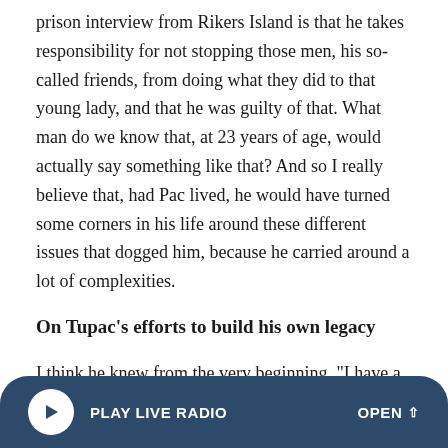prison interview from Rikers Island is that he takes responsibility for not stopping those men, his so-called friends, from doing what they did to that young lady, and that he was guilty of that. What man do we know that, at 23 years of age, would actually say something like that? And so I really believe that, had Pac lived, he would have turned some corners in his life around these different issues that dogged him, because he carried around a lot of complexities.
On Tupac's efforts to build his own legacy
I think he knew from the very beginning, "I have a very short window to live, I've got to create a body of work." He was constantly producing, constantly writing, constantly in a
PLAY LIVE RADIO   OPEN